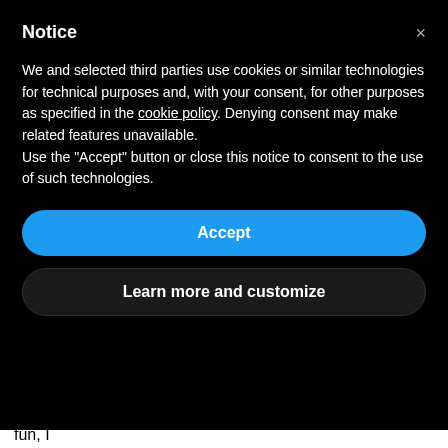Notice
We and selected third parties use cookies or similar technologies for technical purposes and, with your consent, for other purposes as specified in the cookie policy. Denying consent may make related features unavailable.
Use the “Accept” button or close this notice to consent to the use of such technologies.
Accept
Learn more and customize
a bunch of jobs and things here and there but got fired from every single job. Then, I met my husband and when I saw him doing what he loved I was just, “Ok, I want to find something I love to do too.”
I got a job at MAC Cosmetics and I was like “this is really fun, I